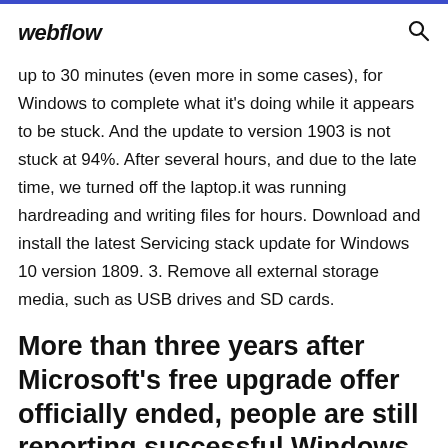webflow
up to 30 minutes (even more in some cases), for Windows to complete what it's doing while it appears to be stuck. And the update to version 1903 is not stuck at 94%. After several hours, and due to the late time, we turned off the laptop.it was running hardreading and writing files for hours. Download and install the latest Servicing stack update for Windows 10 version 1809. 3. Remove all external storage media, such as USB drives and SD cards.
More than three years after Microsoft's free upgrade offer officially ended, people are still reporting successful Windows 10